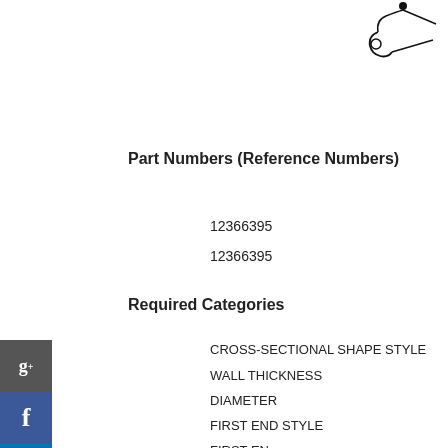[Figure (illustration): Small mechanical part illustration in top right corner, showing a clip or fastener component with an arrow pointing left]
Part Numbers (Reference Numbers)
12366395
12366395
Required Categories
CROSS-SECTIONAL SHAPE STYLE
WALL THICKNESS
DIAMETER
FIRST END STYLE
FIRST EN
Required Description
1 PLAIN ROUND
0.035 INCHES MINIMUM AND
0.049 INCHES MAXIMUM
1.500 INCHES NOMI